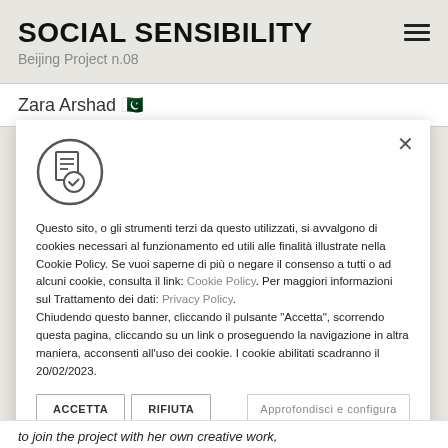SOCIAL SENSIBILITY
Beijing Project n.08
Zara Arshad 🇵🇰
[Figure (screenshot): Cookie consent overlay dialog with cookie/document icon, close X button, Italian cookie policy text with links to Cookie Policy and Privacy Policy, and three buttons: ACCETTA, RIFIUTA, Approfondisci e configura]
to join the project with her own creative work,